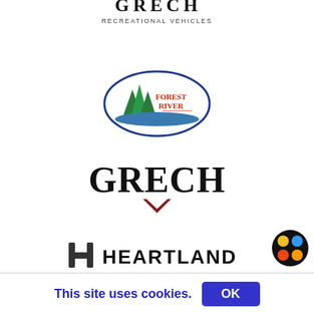[Figure (logo): Partial logo at top — text reads RECREATIONAL VEHICLES in small caps beneath a larger brand name (partially cropped)]
[Figure (logo): Forest River logo — oval shape with pine trees illustration and 'Forest River' text in red and dark lettering]
[Figure (logo): Grech Motors logo — bold black letters 'GRECH' with a dark red V-chevron below]
[Figure (logo): Heartland logo — stylized H bracket icon followed by 'HEARTLAND' in bold black sans-serif letters]
[Figure (logo): Partial bird/swallow logo with blue and black wings, partially cropped at bottom]
[Figure (logo): Circular dot-matrix icon with colored dots (yellow, blue, red/orange) in bottom-right corner]
This site uses cookies.
OK